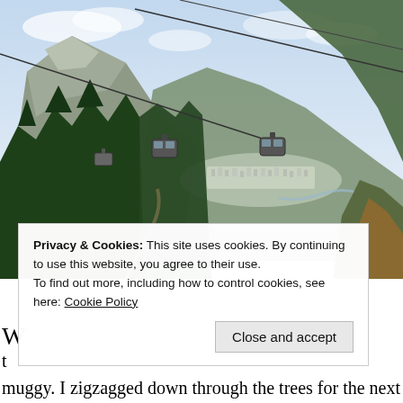[Figure (photo): Aerial gondola cable car lift with two cabins visible, overlooking a mountain valley with a town (Chamonix) below, surrounded by dense conifer forests and snow-capped Alps in the background under a partly cloudy sky.]
Privacy & Cookies: This site uses cookies. By continuing to use this website, you agree to their use. To find out more, including how to control cookies, see here: Cookie Policy
Close and accept
muggy. I zigzagged down through the trees for the next 2